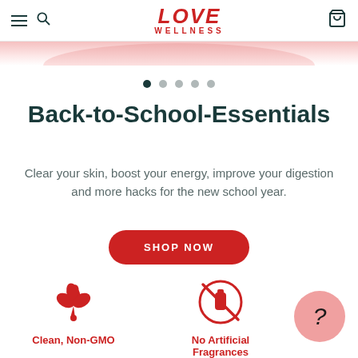[Figure (logo): Love Wellness logo in red with hamburger menu and search icon on left, shopping cart on right]
[Figure (illustration): Pink banner strip at top with oval shape]
[Figure (other): Carousel dots: one filled dark, four grey]
Back-to-School-Essentials
Clear your skin, boost your energy, improve your digestion and more hacks for the new school year.
SHOP NOW
[Figure (illustration): Red plant/leaf icon with droplet for Clean, Non-GMO]
Clean, Non-GMO
[Figure (illustration): Red circle with crossed-out fragrance bottle for No Artificial Fragrances]
No Artificial Fragrances
[Figure (illustration): Pink help bubble with question mark]